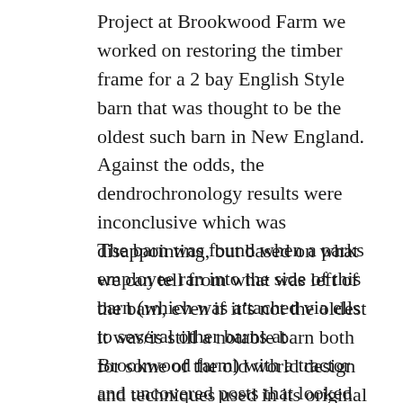Project at Brookwood Farm we worked on restoring the timber frame for a 2 bay English Style barn that was thought to be the oldest such barn in New England. Against the odds, the dendrochronology results were inconclusive which was disappointing, but based on what we can tell from what was left of the barn, even if it's not the oldest it was/is still a notable barn both for some of the old world design and techniques used in its original construction.
The barn was found when a parks employee ran into the side of this barn (which was attached via ells to several other barns at Brookwood farm) with a tractor and uncovered posts that looked hand hewn. From there the school was eventually called in, and after careful evaluation and research by Steve O'Shaughnessy, Rich Friberg and others that this barn was indeed a rare bird and worth preserving. The class of 2009 and 2010 carefully dismantled the